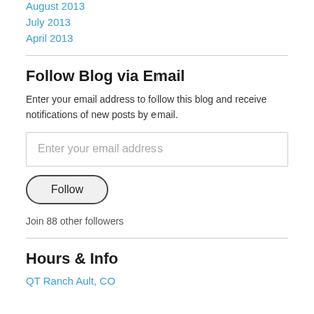August 2013
July 2013
April 2013
Follow Blog via Email
Enter your email address to follow this blog and receive notifications of new posts by email.
[Figure (other): Email input field with placeholder text 'Enter your email address']
[Figure (other): Follow button with rounded border]
Join 88 other followers
Hours & Info
QT Ranch Ault, CO